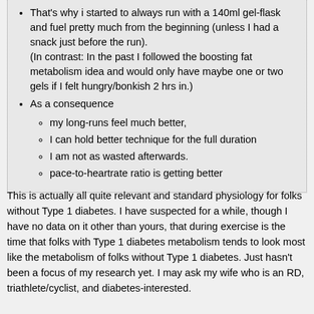That's why i started to always run with a 140ml gel-flask and fuel pretty much from the beginning (unless I had a snack just before the run). (In contrast: In the past I followed the boosting fat metabolism idea and would only have maybe one or two gels if I felt hungry/bonkish 2 hrs in.)
As a consequence
my long-runs feel much better,
I can hold better technique for the full duration
I am not as wasted afterwards.
pace-to-heartrate ratio is getting better
This is actually all quite relevant and standard physiology for folks without Type 1 diabetes. I have suspected for a while, though I have no data on it other than yours, that during exercise is the time that folks with Type 1 diabetes metabolism tends to look most like the metabolism of folks without Type 1 diabetes. Just hasn't been a focus of my research yet. I may ask my wife who is an RD, triathlete/cyclist, and diabetes-interested.